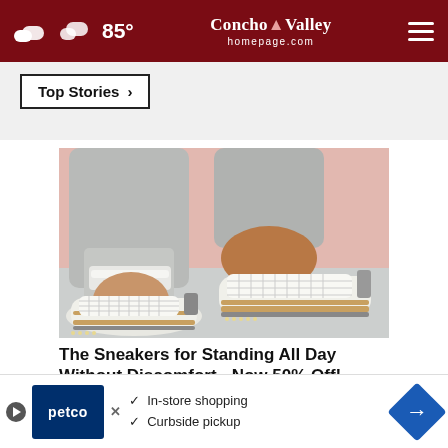85° Concho Valley homepage.com
Top Stories ›
[Figure (photo): Close-up photo of a person wearing white mesh sneakers with gold/espadrille trim, paired with white rolled jeans, on a light pink background.]
The Sneakers for Standing All Day Without Discomfort - Now 50% Off!
Ad by Sursell
[Figure (advertisement): Petco advertisement banner with Play and X icons, showing checkmarks for In-store shopping and Curbside pickup, with a blue navigation arrow icon on the right.]
MORE